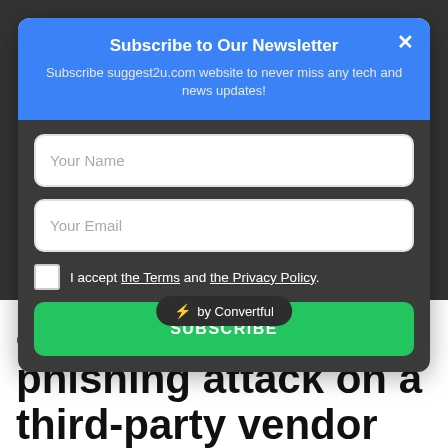Subscribe to Our Newsletter
Subscribe suggest2u.com website to never miss any tech and news updates!
Your Name
Your Email
I accept the Terms and the Privacy Policy.
SUBSCRIBE
app has faced phishing attack on a third-party vendor
Leave a Comment / World News / By Farhan
DoorDash Inc said personal details of some